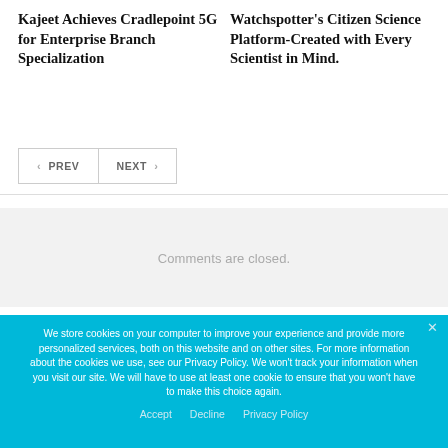Kajeet Achieves Cradlepoint 5G for Enterprise Branch Specialization
Watchspotter's Citizen Science Platform-Created with Every Scientist in Mind.
PREV
NEXT
Comments are closed.
We store cookies on your computer to improve your experience and provide more personalized services, both on this website and on other sites. For more information about the cookies we use, see our Privacy Policy. We won't track your information when you visit our site. We will have to use at least one cookie to ensure that you won't have to make this choice again.
Accept
Decline
Privacy Policy